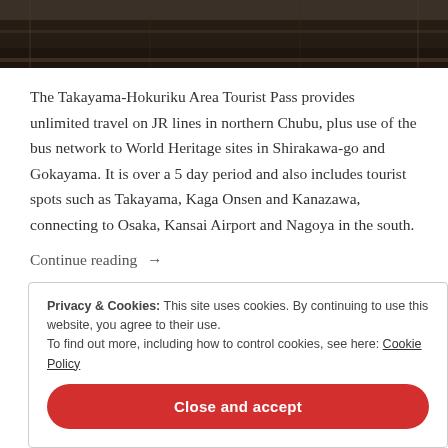[Figure (photo): Top portion of a photograph showing dark train rails or railway tracks from above, dark brown/black tones]
The Takayama-Hokuriku Area Tourist Pass provides unlimited travel on JR lines in northern Chubu, plus use of the bus network to World Heritage sites in Shirakawa-go and Gokayama. It is over a 5 day period and also includes tourist spots such as Takayama, Kaga Onsen and Kanazawa, connecting to Osaka, Kansai Airport and Nagoya in the south.
Continue reading →
Privacy & Cookies: This site uses cookies. By continuing to use this website, you agree to their use.
To find out more, including how to control cookies, see here: Cookie Policy

Close and accept